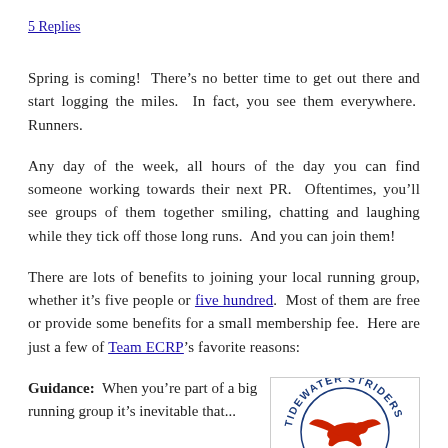5 Replies
Spring is coming!  There’s no better time to get out there and start logging the miles.  In fact, you see them everywhere.  Runners.
Any day of the week, all hours of the day you can find someone working towards their next PR.  Oftentimes, you’ll see groups of them together smiling, chatting and laughing while they tick off those long runs.  And you can join them!
There are lots of benefits to joining your local running group, whether it’s five people or five hundred.  Most of them are free or provide some benefits for a small membership fee.  Here are just a few of Team ECRP’s favorite reasons:
Guidance:  When you’re part of a big running group it’s inevitable that...
[Figure (logo): Tidewater Striders running club logo: circular text 'TIDEWATER STRIDERS' in blue with a red bird/swallow in the center]